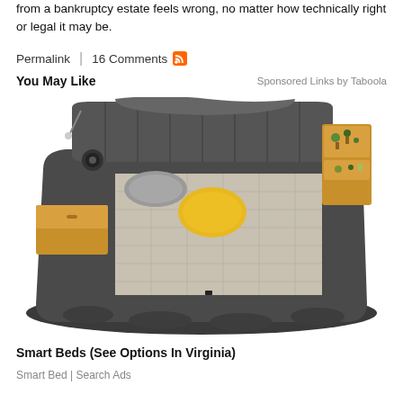from a bankruptcy estate feels wrong, no matter how technically right or legal it may be.
Permalink  |  16 Comments
You May Like
Sponsored Links by Taboola
[Figure (photo): A modern smart bed with dark grey upholstery, built-in side tables with wooden storage drawers, speakers, and a yellow accent pillow on a plaid mattress.]
Smart Beds (See Options In Virginia)
Smart Bed | Search Ads